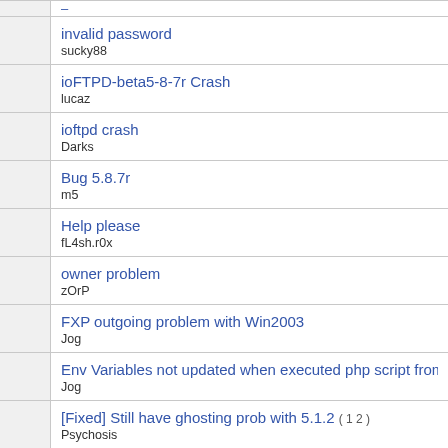|  | Topic |
| --- | --- |
|  | –
– |
|  | invalid password
sucky88 |
|  | ioFTPD-beta5-8-7r Crash
lucaz |
|  | ioftpd crash
Darks |
|  | Bug 5.8.7r
m5 |
|  | Help please
fL4sh.r0x |
|  | owner problem
zOrP |
|  | FXP outgoing problem with Win2003
Jog |
|  | Env Variables not updated when executed php script from schedu...
Jog |
|  | [Fixed] Still have ghosting prob with 5.1.2 ( 1 2 )
Psychosis |
|  | Invalid dates in list's
 |